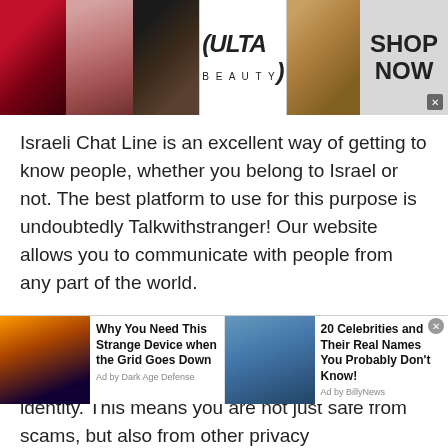[Figure (photo): Top banner advertisement for Ulta Beauty showing makeup images (red lips, makeup brush, eye with dark makeup, Ulta Beauty logo, eye with dramatic makeup) and a 'SHOP NOW' button on the right.]
Israeli Chat Line is an excellent way of getting to know people, whether you belong to Israel or not. The best platform to use for this purpose is undoubtedly Talkwithstranger! Our website allows you to communicate with people from any part of the world.
We have taken video chatting to the next level by providing you with the ability to chat with anyone, at any time, without revealing your identity. This means you are not just safe from scams, but also from other privacy
[Figure (photo): Bottom advertisement strip with two ad items: 1) City at night image with text 'Why You Need This Strange Device when the Grid Goes Down' - Ad by Dark Age Defense; 2) Photo of a woman with text '20 Celebrities and Their Real Names You Probably Don't Know!' - Ad by BillyNews]